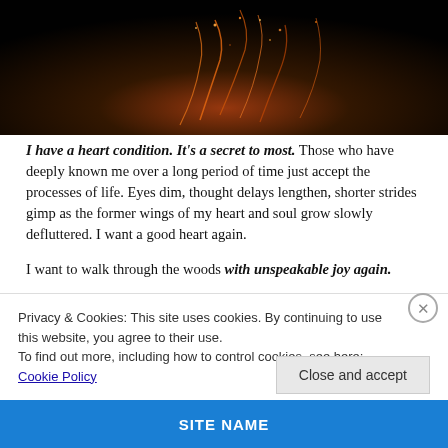[Figure (photo): Dark atmospheric photo with fire sparks and glowing embers against a black background]
I have a heart condition. It's a secret to most. Those who have deeply known me over a long period of time just accept the processes of life. Eyes dim, thought delays lengthen, shorter strides gimp as the former wings of my heart and soul grow slowly defluttered. I want a good heart again.
I want to walk through the woods with unspeakable joy again.
Privacy & Cookies: This site uses cookies. By continuing to use this website, you agree to their use. To find out more, including how to control cookies, see here: Cookie Policy
Close and accept